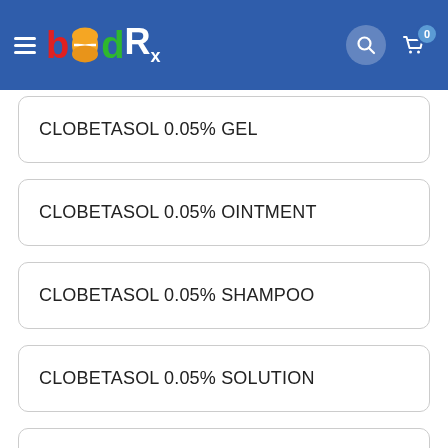[Figure (logo): BidRx pharmacy app logo with hamburger menu, colorful b-pill-d-Rx lettering on blue header bar, search icon and cart with badge showing 0]
CLOBETASOL 0.05% GEL
CLOBETASOL 0.05% OINTMENT
CLOBETASOL 0.05% SHAMPOO
CLOBETASOL 0.05% SOLUTION
CLOBETASOL 0.05% TOPICAL LOTN